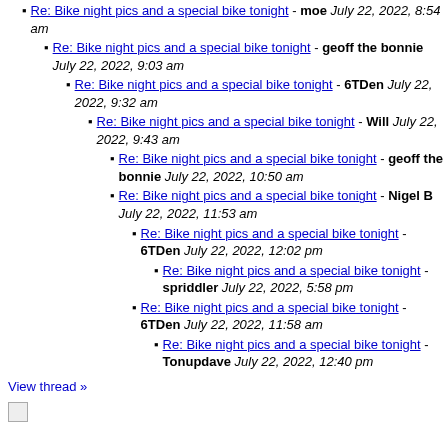Re: Bike night pics and a special bike tonight - moe July 22, 2022, 8:54 am
Re: Bike night pics and a special bike tonight - geoff the bonnie July 22, 2022, 9:03 am
Re: Bike night pics and a special bike tonight - 6TDen July 22, 2022, 9:32 am
Re: Bike night pics and a special bike tonight - Will July 22, 2022, 9:43 am
Re: Bike night pics and a special bike tonight - geoff the bonnie July 22, 2022, 10:50 am
Re: Bike night pics and a special bike tonight - Nigel B July 22, 2022, 11:53 am
Re: Bike night pics and a special bike tonight - 6TDen July 22, 2022, 12:02 pm
Re: Bike night pics and a special bike tonight - spriddler July 22, 2022, 5:58 pm
Re: Bike night pics and a special bike tonight - 6TDen July 22, 2022, 11:58 am
Re: Bike night pics and a special bike tonight - Tonupdave July 22, 2022, 12:40 pm
View thread »